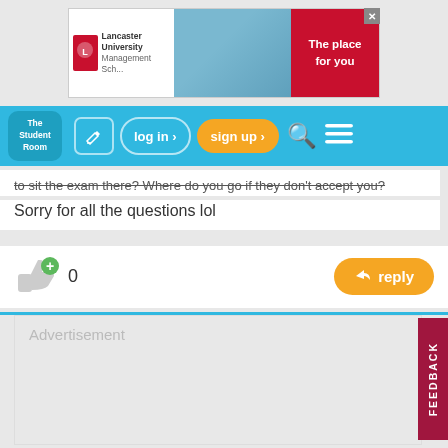[Figure (screenshot): Lancaster University Management School advertisement banner with logo, campus photo, and red panel saying 'The place for you']
[Figure (screenshot): The Student Room navigation bar with logo, edit icon, log in button, sign up button, search icon, and hamburger menu]
to sit the exam there? Where do you go if they don't accept you?
Sorry for all the questions lol
[Figure (infographic): Thumbs up icon with plus sign and count of 0, and an orange reply button]
Advertisement
[Figure (screenshot): FEEDBACK vertical tab on right side in dark red/magenta]